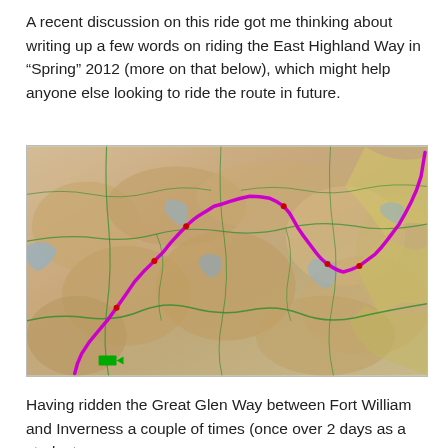A recent discussion on this ride got me thinking about writing up a few words on riding the East Highland Way in "Spring" 2012 (more on that below), which might help anyone else looking to ride the route in future.
[Figure (map): Topographic map of the Scottish Highlands showing the East Highland Way route marked with a bright pink/magenta line running from the bottom-left to the upper-right of the map, passing through mountainous terrain with green roads overlaid.]
Having ridden the Great Glen Way between Fort William and Inverness a couple of times (once over 2 days as a student...